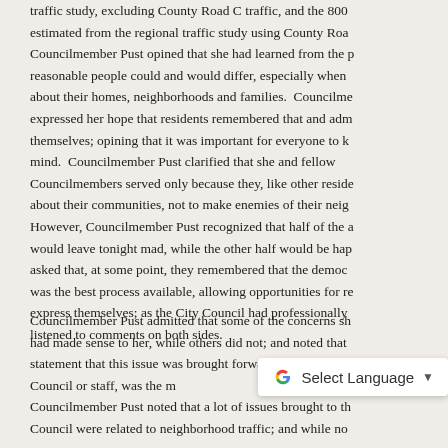traffic study, excluding County Road C traffic, and the 800 estimated from the regional traffic study using County Roa... Councilmember Pust opined that she had learned from the p... reasonable people could and would differ, especially when ... about their homes, neighborhoods and families. Councilme... expressed her hope that residents remembered that and adm... themselves; opining that it was important for everyone to k... mind. Councilmember Pust clarified that she and fellow Councilmembers served only because they, like other reside... about their communities, not to make enemies of their neig... However, Councilmember Pust recognized that half of the a... would leave tonight mad, while the other half would be hap... asked that, at some point, they remembered that the democ... was the best process available, allowing opportunities for re... express themselves; as the City Council had professionally ... listened to comments on both sides.
Councilmember Pust admitted that some of the concerns sh... had made sense to her, while others did not; and noted that ... statement that this issue was brought forward by citizens, n... Council or staff, was the m... a po... Councilmember Pust noted that a lot of issues brought to th... Council were related to neighborhood traffic; and while no...